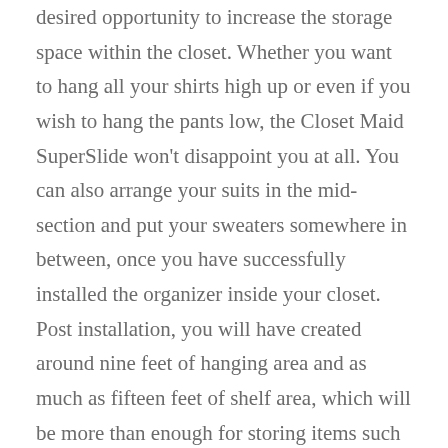desired opportunity to increase the storage space within the closet. Whether you want to hang all your shirts high up or even if you wish to hang the pants low, the Closet Maid SuperSlide won't disappoint you at all. You can also arrange your suits in the mid-section and put your sweaters somewhere in between, once you have successfully installed the organizer inside your closet. Post installation, you will have created around nine feet of hanging area and as much as fifteen feet of shelf area, which will be more than enough for storing items such as cameras, suitcases (empty), hats, sweaters, umbrellas, and other items.  The product is highly reliable as it is made up of premium quality steel. Thanks to the design of the wire, your closet will remain ventilated and fresh. The kit also consists of specially designed hanging rod brackets which ensures that you